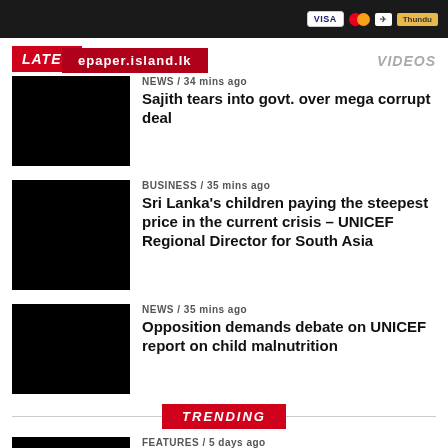[Figure (screenshot): Top banner with dark background showing payment logos (VISA, Mastercard, and other brand)]
LATEST
VIDEOS
[Figure (photo): Black thumbnail image for news item 1]
NEWS / 34 mins ago
Sajith tears into govt. over mega corrupt deal
[Figure (photo): Black thumbnail image for news item 2]
BUSINESS / 35 mins ago
Sri Lanka's children paying the steepest price in the current crisis – UNICEF Regional Director for South Asia
[Figure (photo): Black thumbnail image for news item 3]
NEWS / 35 mins ago
Opposition demands debate on UNICEF report on child malnutrition
TRENDING
[Figure (photo): Black thumbnail image for trending item]
FEATURES / 5 days ago